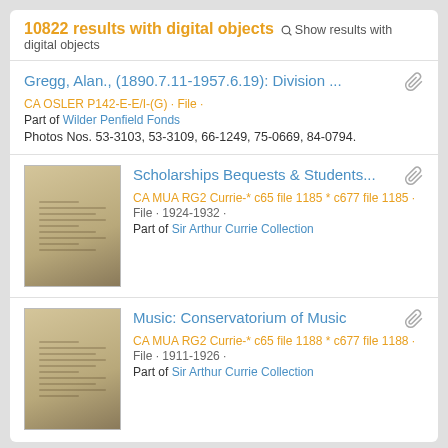10822 results with digital objects  Show results with digital objects
Gregg, Alan., (1890.7.11-1957.6.19): Division ...
CA OSLER P142-E-E/I-(G) · File ·
Part of Wilder Penfield Fonds
Photos Nos. 53-3103, 53-3109, 66-1249, 75-0669, 84-0794.
[Figure (photo): Thumbnail of a document page with handwritten/typed text on aged paper]
Scholarships Bequests & Students...
CA MUA RG2 Currie-* c65 file 1185 * c677 file 1185 ·
File · 1924-1932 ·
Part of Sir Arthur Currie Collection
[Figure (photo): Thumbnail of a document page with typed text on aged paper]
Music: Conservatorium of Music
CA MUA RG2 Currie-* c65 file 1188 * c677 file 1188 ·
File · 1911-1926 ·
Part of Sir Arthur Currie Collection